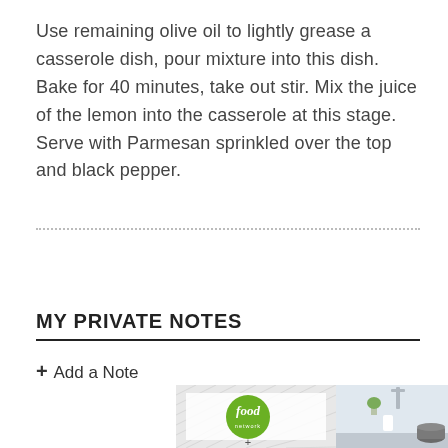Use remaining olive oil to lightly grease a casserole dish, pour mixture into this dish. Bake for 40 minutes, take out stir. Mix the juice of the lemon into the casserole at this stage. Serve with Parmesan sprinkled over the top and black pepper.
Submit a Recipe Correction
MY PRIVATE NOTES
+ Add a Note
[Figure (logo): Food Network logo and kitchen background image]